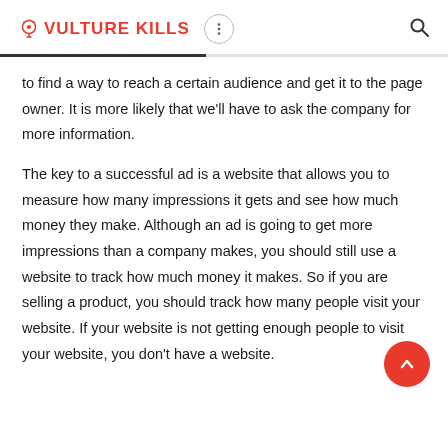VULTURE KILLS
to find a way to reach a certain audience and get it to the page owner. It is more likely that we'll have to ask the company for more information.
The key to a successful ad is a website that allows you to measure how many impressions it gets and see how much money they make. Although an ad is going to get more impressions than a company makes, you should still use a website to track how much money it makes. So if you are selling a product, you should track how many people visit your website. If your website is not getting enough people to visit your website, you don't have a website.